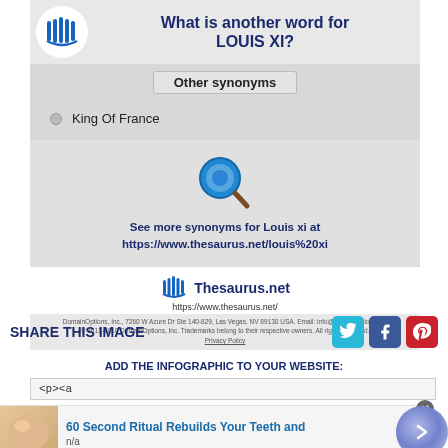What is another word for LOUIS XI?
Other synonyms
King Of France
[Figure (infographic): Magnifying glass icon with text: See more synonyms for Louis xi at https://www.thesaurus.net/louis%20xi]
[Figure (logo): Thesaurus.net logo with URL https://www.thesaurus.net/]
DomainOptions, Inc., 7260 W Azure Dr Ste 140-829, Las Vegas, NV 89130 USA. Email: info@domainoptions.net © 2011-2018 DomainOptions, Inc. Trademarks belong to their respective owners. All rights reserved. Privacy Policy
SHARE THIS IMAGE
ADD THE INFOGRAPHIC TO YOUR WEBSITE:
<p><a
60 Second Ritual Rebuilds Your Teeth and
n/a